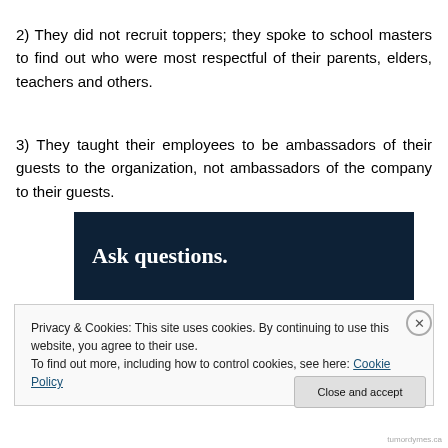2) They did not recruit toppers; they spoke to school masters to find out who were most respectful of their parents, elders, teachers and others.
3) They taught their employees to be ambassadors of their guests to the organization, not ambassadors of the company to their guests.
[Figure (other): Dark navy blue banner with bold white serif text reading 'Ask questions.']
Privacy & Cookies: This site uses cookies. By continuing to use this website, you agree to their use.
To find out more, including how to control cookies, see here: Cookie Policy
Close and accept